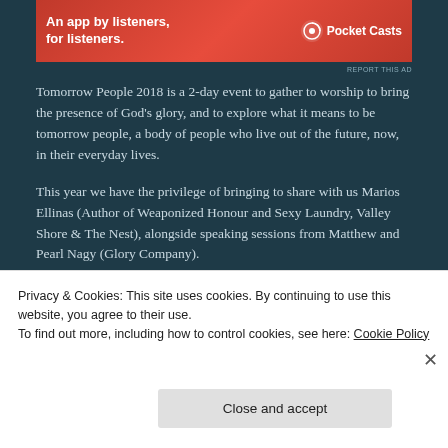[Figure (infographic): Pocket Casts advertisement banner — red/orange gradient background with text 'An app by listeners, for listeners.' and Pocket Casts logo on the right]
REPORT THIS AD
Tomorrow People 2018 is a 2-day event to gather to worship to bring the presence of God's glory, and to explore what it means to be tomorrow people, a body of people who live out of the future, now, in their everyday lives.
This year we have the privilege of bringing to share with us Marios Ellinas (Author of Weaponized Honour and Sexy Laundry, Valley Shore & The Nest), alongside speaking sessions from Matthew and Pearl Nagy (Glory Company).
Marios is an international speaker, author, and consultant. He has served as Senior Leader of Valley Shore in Old Saybrook, Connecticut USA since 2005, and is heading up Year 1 of the Nest for 2018. Marios has published
Privacy & Cookies: This site uses cookies. By continuing to use this website, you agree to their use.
To find out more, including how to control cookies, see here: Cookie Policy
Close and accept